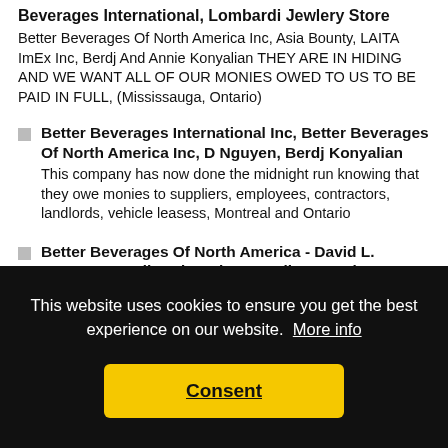Beverages International, Lombardi Jewlery Store — Better Beverages Of North America Inc, Asia Bounty, LAITA ImEx Inc, Berdj And Annie Konyalian THEY ARE IN HIDING AND WE WANT ALL OF OUR MONIES OWED TO US TO BE PAID IN FULL, (Mississauga, Ontario)
Better Beverages International Inc, Better Beverages Of North America Inc, D Nguyen, Berdj Konyalian — This company has now done the midnight run knowing that they owe monies to suppliers, employees, contractors, landlords, vehicle leasess, Montreal and Ontario
Better Beverages Of North America - David L. Nguyen - Berdj And Annie Konyalian - Louise Lazazerra
This website uses cookies to ensure you get the best experience on our website. More info
Consent